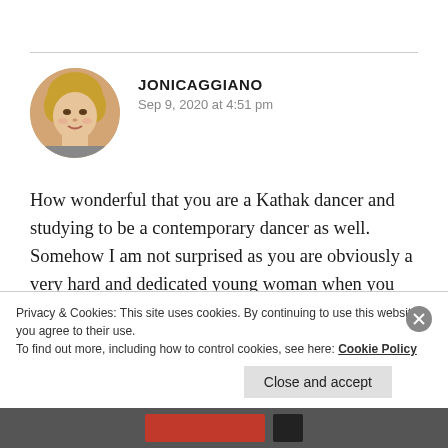[Figure (photo): Circular avatar photo of a woman with short blonde hair]
JONICAGGIANO
Sep 9, 2020 at 4:51 pm
How wonderful that you are a Kathak dancer and studying to be a contemporary dancer as well. Somehow I am not surprised as you are obviously a very hard and dedicated young woman when you set a goal for yourself. Sounds amazing. Have a blessed rest of the
Privacy & Cookies: This site uses cookies. By continuing to use this website, you agree to their use.
To find out more, including how to control cookies, see here: Cookie Policy
Close and accept